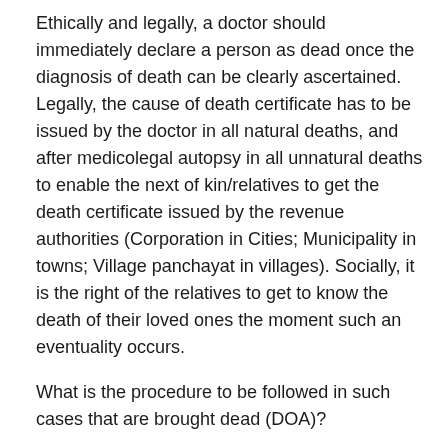Ethically and legally, a doctor should immediately declare a person as dead once the diagnosis of death can be clearly ascertained. Legally, the cause of death certificate has to be issued by the doctor in all natural deaths, and after medicolegal autopsy in all unnatural deaths to enable the next of kin/relatives to get the death certificate issued by the revenue authorities (Corporation in Cities; Municipality in towns; Village panchayat in villages). Socially, it is the right of the relatives to get to know the death of their loved ones the moment such an eventuality occurs.
What is the procedure to be followed in such cases that are brought dead (DOA)?
First and foremost, all cases brought dead to the hospital should be documented clearly in the “death register” or